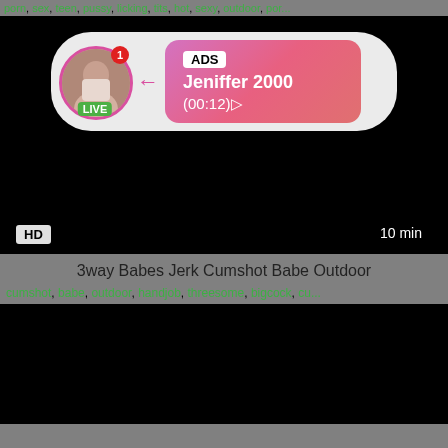porn, sex, teen, pussy, licking, tits, hot, sexy, outdoor, por...
[Figure (screenshot): Video thumbnail with black background, an ad overlay showing a profile picture with LIVE badge, ADS label, name Jeniffer 2000, time (00:12), HD badge and 10 min duration]
3way Babes Jerk Cumshot Babe Outdoor
cumshot, babe, outdoor, handjob, threesome, bigcock, cu...
[Figure (screenshot): Black video thumbnail area]